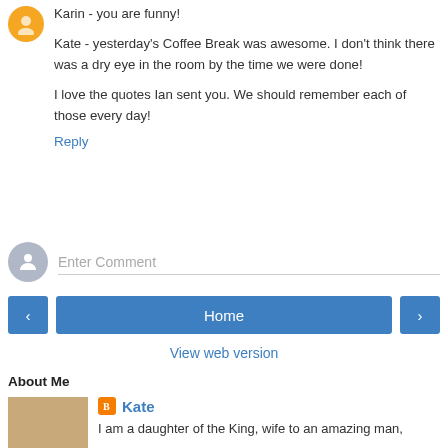Karin - you are funny!
Kate - yesterday's Coffee Break was awesome. I don't think there was a dry eye in the room by the time we were done!
I love the quotes Ian sent you. We should remember each of those every day!
Reply
Enter Comment
Home
View web version
About Me
Kate
I am a daughter of the King, wife to an amazing man,